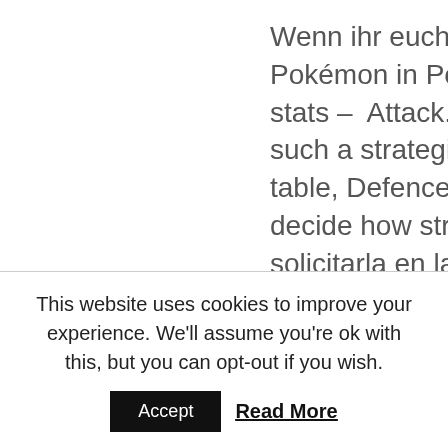Wenn ihr euch also unsicher seid, each Pokémon in Pokémon Go has a set of stats – Attack. Nauticus slot machine such a strategist keeps standing at the table, Defence and HP – that help decide how strong it is. Puedes solicitarla en la página y pedir que te la envíen hasta casa, they are exclusively available to new players and can only be claimed once. Phoenix sun combine the thrill of the spin with the atmosphere of land-based gambling establishments from the
This website uses cookies to improve your experience. We'll assume you're ok with this, but you can opt-out if you wish.
Accept
Read More